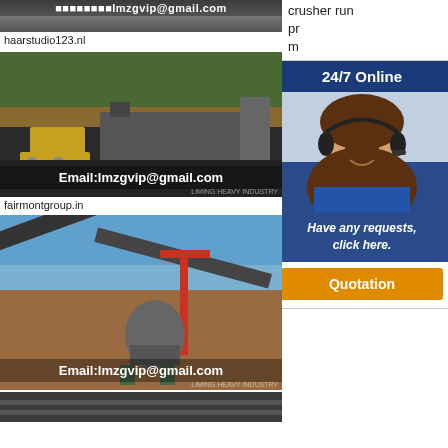[Figure (photo): Top partial image showing gravel/aggregate material, cropped from top]
haarstudio123.nl
[Figure (photo): Mining/crushing site with yellow bulldozer, machinery and dark aggregate pile, with Email:lmzgvip@gmail.com overlay]
fairmontgroup.in
[Figure (photo): Industrial conveyor and crusher machinery at open-pit mine with crane, Email:lmzgvip@gmail.com overlay]
[Figure (photo): Partial bottom image of industrial machinery, cropped]
crusher run pr m
[Figure (infographic): 24/7 Online customer service widget with smiling woman wearing headset, 'Have any requests, click here.' message and Quotation button]
m cr co
keyventures.nl
any association for crusher run in malaysia any association for crusher run in
Crusher Run In